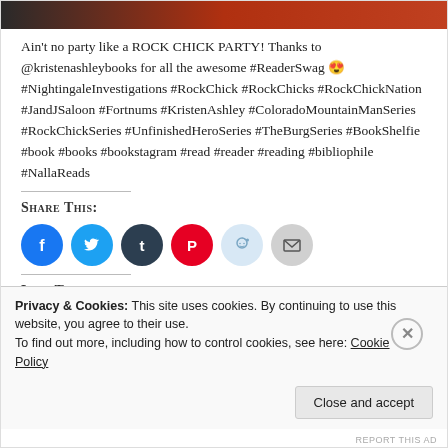[Figure (photo): Dark gradient image bar at top of page]
Ain't no party like a ROCK CHICK PARTY! Thanks to @kristenashleybooks for all the awesome #ReaderSwag 😍 #NightingaleInvestigations #RockChick #RockChicks #RockChickNation #JandJSaloon #Fortnums #KristenAshley #ColoradoMountainManSeries #RockChickSeries #UnfinishedHeroSeries #TheBurgSeries #BookShelfie #book #books #bookstagram #read #reader #reading #bibliophile #NallaReads
Share This:
[Figure (infographic): Row of social media share buttons: Facebook (blue), Twitter (light blue), Tumblr (dark navy), Pinterest (red), Reddit (light blue), Email (grey)]
Like This:
Privacy & Cookies: This site uses cookies. By continuing to use this website, you agree to their use.
To find out more, including how to control cookies, see here: Cookie Policy